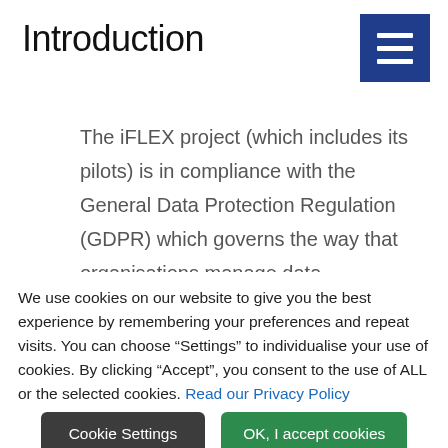Introduction
The iFLEX project (which includes its pilots) is in compliance with the General Data Protection Regulation (GDPR) which governs the way that organisations manage data
We use cookies on our website to give you the best experience by remembering your preferences and repeat visits. You can choose “Settings” to individualise your use of cookies. By clicking “Accept”, you consent to the use of ALL or the selected cookies. Read our Privacy Policy